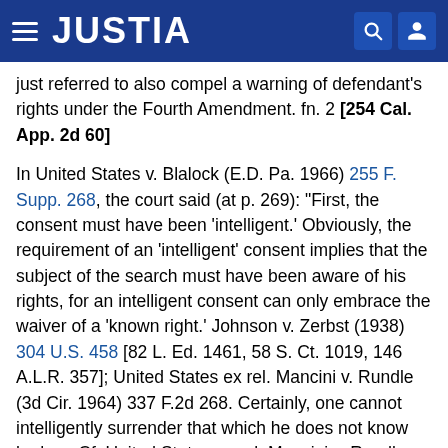JUSTIA
just referred to also compel a warning of defendant's rights under the Fourth Amendment. fn. 2 [254 Cal. App. 2d 60]
In United States v. Blalock (E.D. Pa. 1966) 255 F. Supp. 268, the court said (at p. 269): "First, the consent must have been 'intelligent.' Obviously, the requirement of an 'intelligent' consent implies that the subject of the search must have been aware of his rights, for an intelligent consent can only embrace the waiver of a 'known right.' Johnson v. Zerbst (1938) 304 U.S. 458 [82 L. Ed. 1461, 58 S. Ct. 1019, 146 A.L.R. 357]; United States ex rel. Mancini v. Rundle (3d Cir. 1964) 337 F.2d 268. Certainly, one cannot intelligently surrender that which he does not know he has. Cf. United States ex rel. Mancini v. Rundle, supra; Walker v. Pepersack (4th Cir. 1963) 316 F.2d 119. The agents here properly warned defendant of his right to counsel and his right to remain